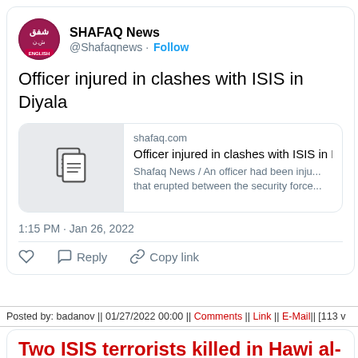[Figure (screenshot): SHAFAQ News Twitter profile avatar - dark red circular logo with Arabic text and ENGLISH label]
SHAFAQ News @Shafaqnews · Follow
Officer injured in clashes with ISIS in Diyala
[Figure (screenshot): Link preview card showing shafaq.com article: Officer injured in clashes with ISIS in D... Shafaq News / An officer had been inju... that erupted between the security force...]
1:15 PM · Jan 26, 2022
♡  Reply  Copy link
Posted by: badanov || 01/27/2022 00:00 || Comments || Link || E-Mail|| [113 v
Two ISIS terrorists killed in Hawi al-Adha